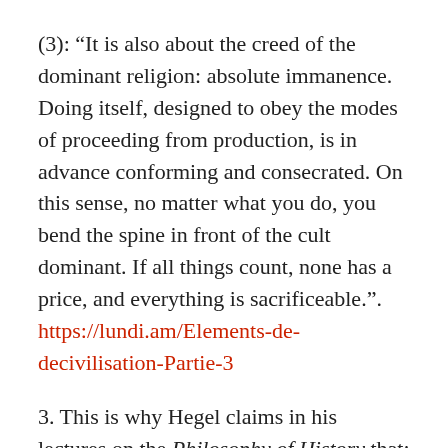(3): “It is also about the creed of the dominant religion: absolute immanence. Doing itself, designed to obey the modes of proceeding from production, is in advance conforming and consecrated. On this sense, no matter what you do, you bend the spine in front of the cult dominant. If all things count, none has a price, and everything is sacrificeable.”. https://lundi.am/Elements-de-decivilisation-Partie-3
3. This is why Hegel claims in his lectures on the Philosophy of History that: “History is not the soil in which happiness grows. The